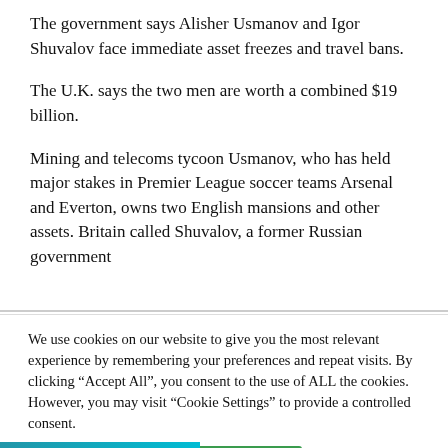The government says Alisher Usmanov and Igor Shuvalov face immediate asset freezes and travel bans.
The U.K. says the two men are worth a combined $19 billion.
Mining and telecoms tycoon Usmanov, who has held major stakes in Premier League soccer teams Arsenal and Everton, owns two English mansions and other assets. Britain called Shuvalov, a former Russian government
We use cookies on our website to give you the most relevant experience by remembering your preferences and repeat visits. By clicking “Accept All”, you consent to the use of ALL the cookies. However, you may visit “Cookie Settings” to provide a controlled consent.